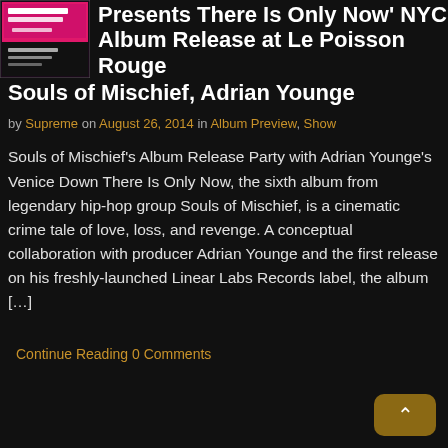[Figure (photo): Album cover thumbnail for Le Poisson Rouge / Souls of Mischief event]
Presents There Is Only Now' NYC Album Release at Le Poisson Rouge Souls of Mischief, Adrian Younge
by Supreme on August 26, 2014 in Album Preview, Show
Souls of Mischief's Album Release Party with Adrian Younge's Venice Down There Is Only Now, the sixth album from legendary hip-hop group Souls of Mischief, is a cinematic crime tale of love, loss, and revenge. A conceptual collaboration with producer Adrian Younge and the first release on his freshly-launched Linear Labs Records label, the album […]
Continue Reading 0 Comments